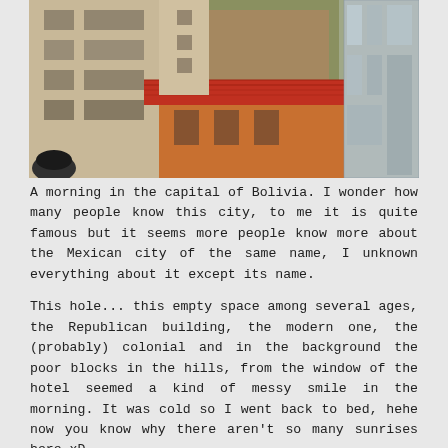[Figure (photo): Street-level view of buildings in La Paz, Bolivia — a Republican-era ornate building on the left, a building with red-tiled roof in the center, a modern glass building on the right, with hillside neighborhoods visible in the background.]
A morning in the capital of Bolivia. I wonder how many people know this city, to me it is quite famous but it seems more people know more about the Mexican city of the same name, I unknown everything about it except its name.
This hole... this empty space among several ages, the Republican building, the modern one, the (probably) colonial and in the background the poor blocks in the hills, from the window of the hotel seemed a kind of messy smile in the morning. It was cold so I went back to bed, hehe now you know why there aren't so many sunrises here xD.
Posted on 26 March, 2016